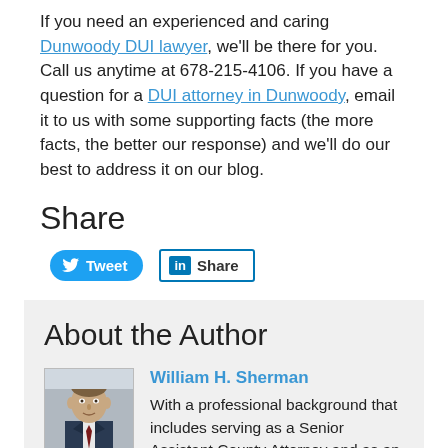If you need an experienced and caring Dunwoody DUI lawyer, we'll be there for you. Call us anytime at 678-215-4106. If you have a question for a DUI attorney in Dunwoody, email it to us with some supporting facts (the more facts, the better our response) and we'll do our best to address it on our blog.
Share
[Figure (other): Tweet button and LinkedIn Share button for social sharing]
About the Author
[Figure (photo): Photo of William H. Sherman, attorney]
William H. Sherman
With a professional background that includes serving as a Senior Assistant County Attorney and as an Assistant Attorney General, attorney William H. Sherman has great experience, a broad range of legal knowledge and a proven record of success. Each of Mr. Sherman's clients gets the full benefit of his experience.